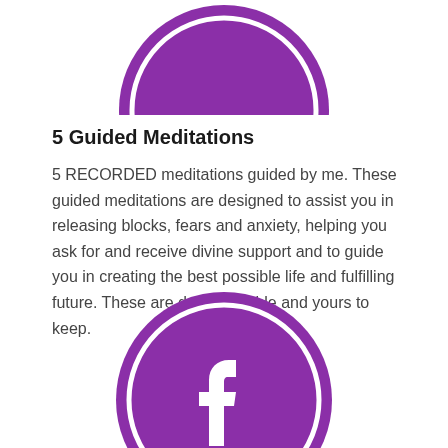[Figure (illustration): Purple circle icon partially visible at top, cropped, with white inner ring outline]
5 Guided Meditations
5 RECORDED meditations guided by me. These guided meditations are designed to assist you in releasing blocks, fears and anxiety, helping you ask for and receive divine support and to guide you in creating the best possible life and fulfilling future. These are downloadable and yours to keep.
[Figure (logo): Purple circle with white inner ring outline containing a white Facebook 'f' logo]